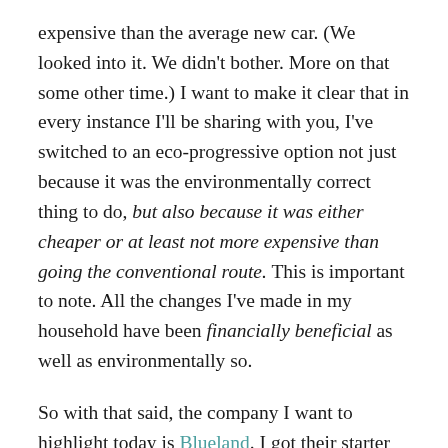expensive than the average new car. (We looked into it. We didn't bother. More on that some other time.) I want to make it clear that in every instance I'll be sharing with you, I've switched to an eco-progressive option not just because it was the environmentally correct thing to do, but also because it was either cheaper or at least not more expensive than going the conventional route. This is important to note. All the changes I've made in my household have been financially beneficial as well as environmentally so.
So with that said, the company I want to highlight today is Blueland. I got their starter kit (the Clean Essentials one) during the first year of the pandemic and have never looked back.